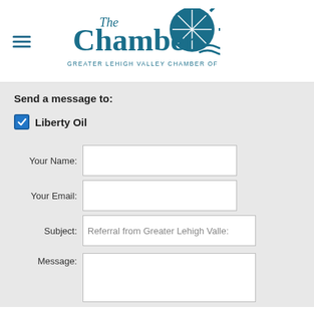[Figure (logo): The Chamber - Greater Lehigh Valley Chamber of Commerce logo with teal text and sunburst graphic]
Send a message to:
Liberty Oil (checked checkbox)
Your Name:
Your Email:
Subject: Referral from Greater Lehigh Valley...
Message: